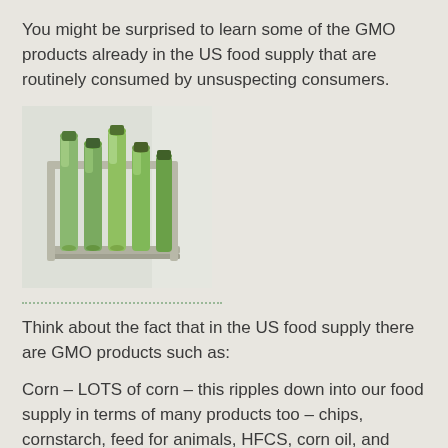You might be surprised to learn some of the GMO products already in the US food supply that are routinely consumed by unsuspecting consumers.
[Figure (photo): Photo of green test tubes or vials in a metal rack, related to GMO/biotech research]
Think about the fact that in the US food supply there are GMO products such as:
Corn – LOTS of corn – this ripples down into our food supply in terms of many products too – chips, cornstarch, feed for animals, HFCS, corn oil, and many others.